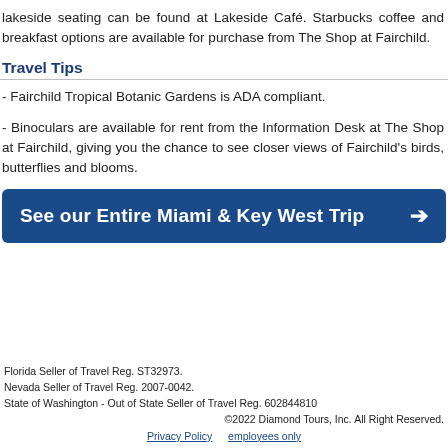lakeside seating can be found at Lakeside Café. Starbucks coffee and breakfast options are available for purchase from The Shop at Fairchild.
Travel Tips
- Fairchild Tropical Botanic Gardens is ADA compliant.
- Binoculars are available for rent from the Information Desk at The Shop at Fairchild, giving you the chance to see closer views of Fairchild's birds, butterflies and blooms.
[Figure (other): Dark blue banner button reading 'See our Entire Miami & Key West Trip' with a white right-arrow icon on the right.]
Florida Seller of Travel Reg. ST32973.
Nevada Seller of Travel Reg. 2007-0042.
State of Washington - Out of State Seller of Travel Reg. 602844810
©2022 Diamond Tours, Inc. All Right Reserved.
Privacy Policy   employees only